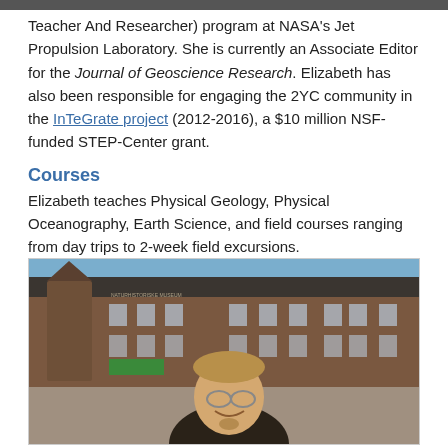Teacher And Researcher) program at NASA's Jet Propulsion Laboratory. She is currently an Associate Editor for the Journal of Geoscience Research. Elizabeth has also been responsible for engaging the 2YC community in the InTeGrate project (2012-2016), a $10 million NSF-funded STEP-Center grant.
Courses
Elizabeth teaches Physical Geology, Physical Oceanography, Earth Science, and field courses ranging from day trips to 2-week field excursions.
[Figure (photo): Photo of a smiling man with glasses standing in front of a large brick museum building (appears to be a natural history museum). The building has a green banner visible. The man has light brown hair and a goatee, wearing a dark shirt.]